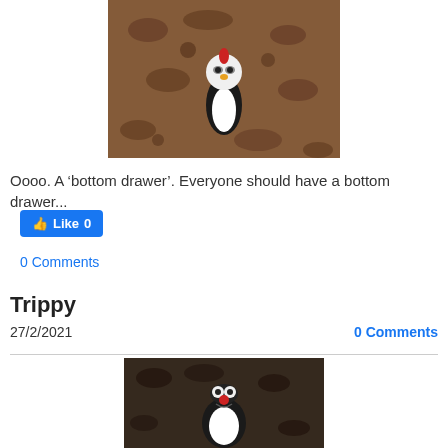[Figure (photo): Photo of a small penguin-like toy figurine on a patterned carpet/rug with dark brown and tan colors]
Oooo.  A ‘bottom drawer’.  Everyone should have a bottom drawer...
[Figure (screenshot): Facebook Like button showing 0 likes]
0 Comments
Trippy
27/2/2021
0 Comments
[Figure (photo): Photo of a penguin-like toy figurine with a red nose on a dark patterned rug/carpet, partially visible at bottom of page]